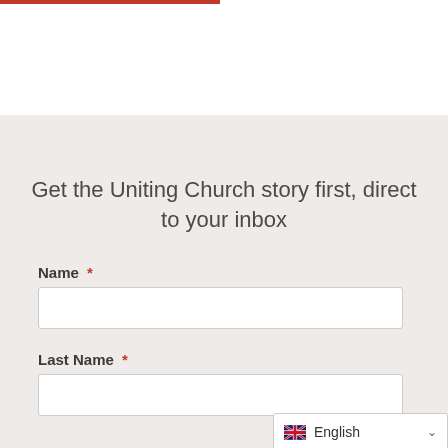[Figure (other): Red horizontal bar at top of page, partially visible logo/header area]
Get the Uniting Church story first, direct to your inbox
Name *
Last Name *
English (language selector dropdown)